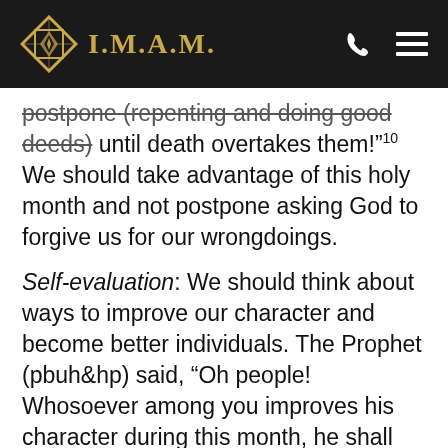I.M.A.M.
postpone (repenting and doing good deeds) until death overtakes them!"10 We should take advantage of this holy month and not postpone asking God to forgive us for our wrongdoings.
Self-evaluation: We should think about ways to improve our character and become better individuals. The Prophet (pbuh&hp) said, "Oh people! Whosoever among you improves his character during this month, he shall have the pass [to cross] over the Bridge (sirat) on the day when [people's] feet shall slip.